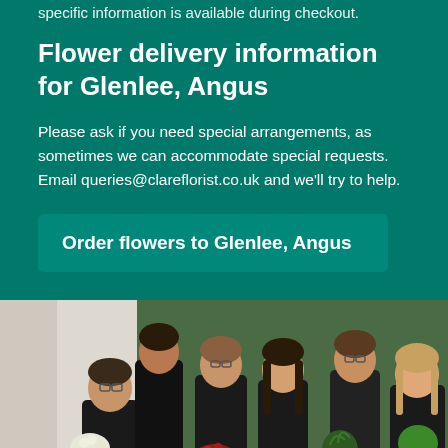specific information is available during checkout.
Flower delivery information for Glenlee, Angus
Please ask if you need special arrangements, as sometimes we can accommodate special requests. Email queries@clareflorist.co.uk and we'll try to help.
Order flowers to Glenlee, Angus
[Figure (photo): Group photo of six women in black uniforms holding flower bouquets and plants, standing in front of a green background]